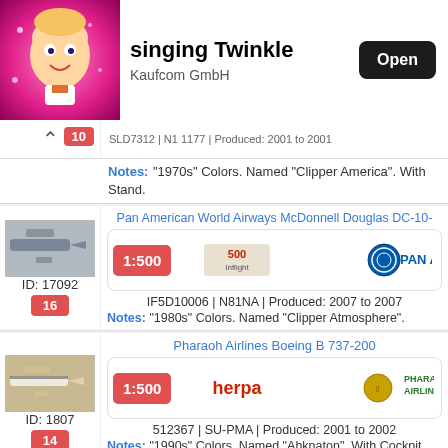[Figure (screenshot): App store listing banner showing a children's app 'singing Twinkle' by Kaufcom GmbH with cartoon character icon and Open button]
SLD7312 | N1 1177 | Produced: 2001 to 2001
Notes: "1970s" Colors. Named "Clipper America". With Stand.
Pan American World Airways McDonnell Douglas DC-10-
ID: 17092
IF5D10006 | N81NA | Produced: 2007 to 2007
Notes: "1980s" Colors. Named "Clipper Atmosphere".
Pharaoh Airlines Boeing B 737-200
ID: 1807
512367 | SU-PMA | Produced: 2001 to 2002
Notes: "1990s" Colors. Named "Ahknaton". With Cockpit Windo Frames. Yesterday Series.
Qantas Airways Boeing B 747-300
ID: 1820
503952 | VH-EBU | Produced: 2001 to 2003
Notes: First Version, "Nalanji Dreaming". With Incorrect Engines
Qantas Airways Boeing B 737-800